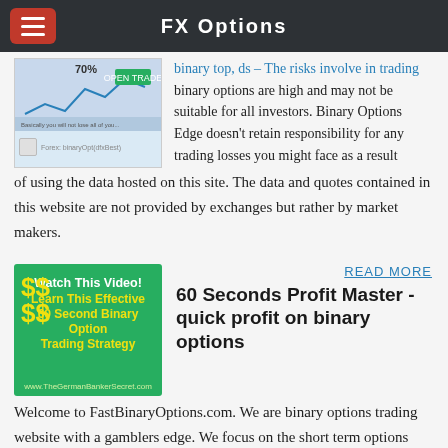FX Options
[Figure (screenshot): Screenshot of a trading platform showing a chart with 70% indicator and open trade button]
binary options are high and may not be suitable for all investors. Binary Options Edge doesn't retain responsibility for any trading losses you might face as a result of using the data hosted on this site. The data and quotes contained in this website are not provided by exchanges but rather by market makers.
[Figure (illustration): Green advertisement banner for 60 Second Binary Option Trading Strategy with dollar signs, Watch This Video!, Learn This Effective 60 Second Binary Option Trading Strategy, www.TheGermanBankerSecret.com]
READ MORE
60 Seconds Profit Master - quick profit on binary options
Welcome to FastBinaryOptions.com. We are binary options trading website with a gamblers edge. We focus on the short term options like the 30 second, 60 seconds options